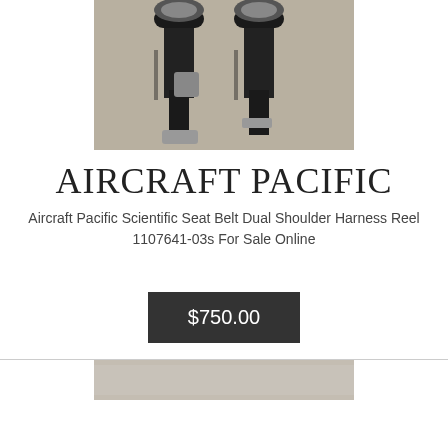[Figure (photo): Photo of aircraft seat belt dual shoulder harness reels on a surface, showing black retractable belt mechanisms with metal hardware]
AIRCRAFT PACIFIC
Aircraft Pacific Scientific Seat Belt Dual Shoulder Harness Reel 1107641-03s For Sale Online
$750.00
[Figure (photo): Partial photo at bottom of page, appears to show another aircraft part]